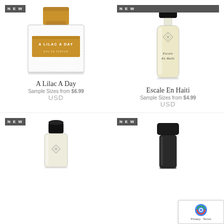[Figure (photo): A Lilac A Day perfume bottle with gold metallic cap and textured body with gold label reading 'A LILAC A DAY EAU DE PARFUM'. NEW badge in top left corner.]
[Figure (photo): Escale En Haiti tall slim perfume bottle with black cap, clear glass with light yellow liquid, diamond pattern emblem, text 'ESCALE EN HAITI'. NEW badge in top right corner.]
A Lilac A Day
Sample Sizes from $6.99
USD
Escale En Haiti
Sample Sizes from $4.99
USD
[Figure (photo): Small perfume bottle with black cap, clear glass with diamond emblem pattern. NEW badge.]
[Figure (photo): Dark/black perfume bottle with black cap. NEW badge. reCAPTCHA widget overlay in bottom right corner.]